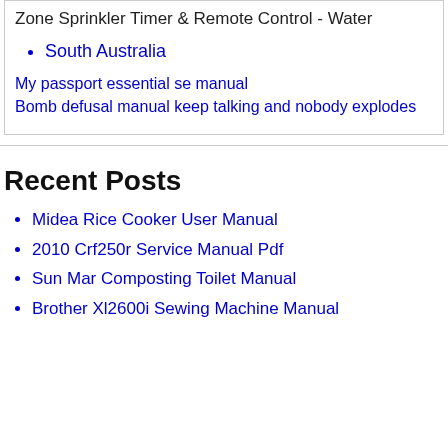Zone Sprinkler Timer & Remote Control - Water
South Australia
My passport essential se manual
Bomb defusal manual keep talking and nobody explodes
Recent Posts
Midea Rice Cooker User Manual
2010 Crf250r Service Manual Pdf
Sun Mar Composting Toilet Manual
Brother Xl2600i Sewing Machine Manual